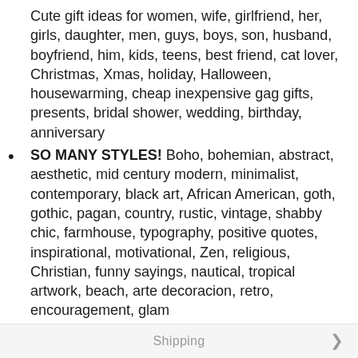Cute gift ideas for women, wife, girlfriend, her, girls, daughter, men, guys, boys, son, husband, boyfriend, him, kids, teens, best friend, cat lover, Christmas, Xmas, holiday, Halloween, housewarming, cheap inexpensive gag gifts, presents, bridal shower, wedding, birthday, anniversary
SO MANY STYLES! Boho, bohemian, abstract, aesthetic, mid century modern, minimalist, contemporary, black art, African American, goth, gothic, pagan, country, rustic, vintage, shabby chic, farmhouse, typography, positive quotes, inspirational, motivational, Zen, religious, Christian, funny sayings, nautical, tropical artwork, beach, arte decoracion, retro, encouragement, glam
SAVE ON MULTIPLE POSTERS, PRINTS, PHOTOS, PICTURES - See details at left
Shipping